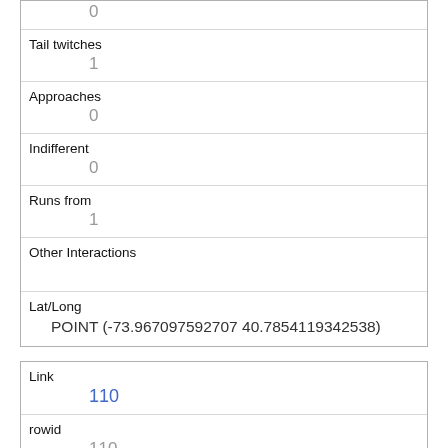|  | 0 |
| Tail twitches | 1 |
| Approaches | 0 |
| Indifferent | 0 |
| Runs from | 1 |
| Other Interactions |  |
| Lat/Long | POINT (-73.967097592707 40.7854119342538) |
| Link | 110 |
| rowid | 110 |
| longitude | -73.97113187902791 |
| latitude |  |